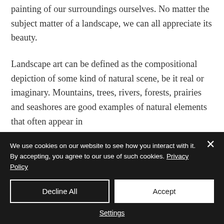painting of our surroundings ourselves. No matter the subject matter of a landscape, we can all appreciate its beauty.
Landscape art can be defined as the compositional depiction of some kind of natural scene, be it real or imaginary. Mountains, trees, rivers, forests, prairies and seashores are good examples of natural elements that often appear in
We use cookies on our website to see how you interact with it. By accepting, you agree to our use of such cookies. Privacy Policy
Decline All
Accept
Settings